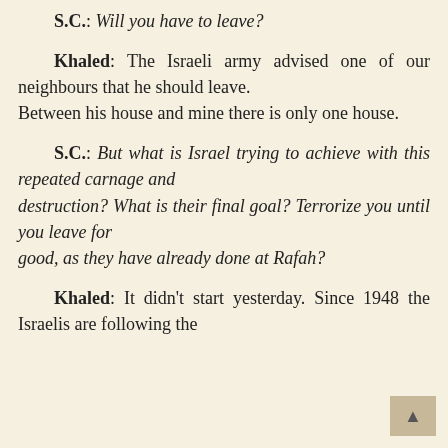S.C.: Will you have to leave?
Khaled: The Israeli army advised one of our neighbours that he should leave.
Between his house and mine there is only one house.
S.C.: But what is Israel trying to achieve with this repeated carnage and destruction? What is their final goal? Terrorize you until you leave for good, as they have already done at Rafah?
Khaled: It didn't start yesterday. Since 1948 the Israelis are following the